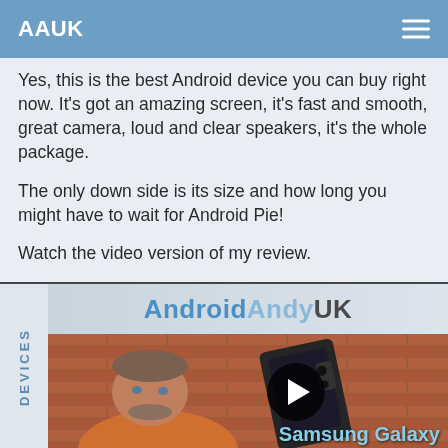AAUK
Yes, this is the best Android device you can buy right now. It's got an amazing screen, it's fast and smooth, great camera, loud and clear speakers, it's the whole package.
The only down side is its size and how long you might have to wait for Android Pie!
Watch the video version of my review.
[Figure (screenshot): Video thumbnail for AndroidAndyUK showing a man holding a Samsung Galaxy Note 9, with a play button overlay and 'Samsung Galaxy' text in the lower right. Left sidebar shows 'DEVICES' rotated vertically.]